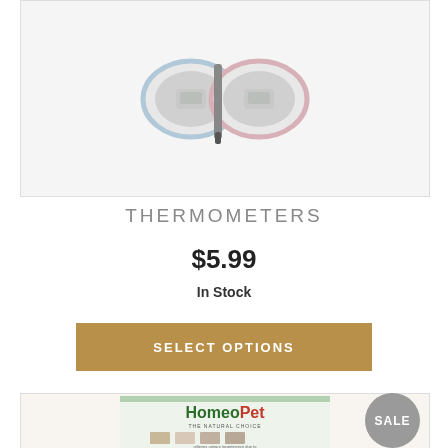[Figure (photo): Two thermometers with oval shapes, one blue-rimmed and one pink-rimmed, displayed side by side with a pen-like thermometer probe]
THERMOMETERS
$5.99
In Stock
SELECT OPTIONS
[Figure (photo): HomeoJPet The Natural Choice product box showing animals (dog, cat, rabbit, bird) with text 'relieves urinary incontinence due to']
SALE